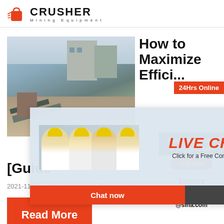CRUSHER Mining Equipment
[Figure (photo): Mining/construction site with conveyor belts and machinery]
How to Maximize Effici...
[Figure (infographic): Live chat overlay popup with workers in yellow helmets, support lady with headset, 'LIVE CHAT - Click for a Free Consultation', Chat now and Chat later buttons]
[Guide
2021-11-28    How to Maximize Efficiency in A...
[Figure (infographic): Read More button - orange rectangle]
[Figure (infographic): Right sidebar: 24Hrs Online badge, Need questions & suggestion? Chat Now, Enquiry, limingjlmofen@sina.com]